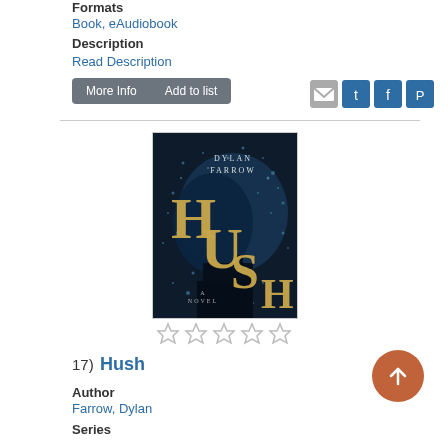Formats
Book, eAudiobook
Description
Read Description
[Figure (screenshot): Buttons: More Info and Add to list, plus social media icons for email, Twitter, Facebook, Pinterest]
[Figure (photo): Book cover for Hush by Dylan Farrow — dark navy/black background with scattered particles, gold lettering spelling HUSH, text 'A NOVEL' at bottom]
[Figure (other): Five empty star rating icons]
17)  Hush
Author
Farrow, Dylan
Series